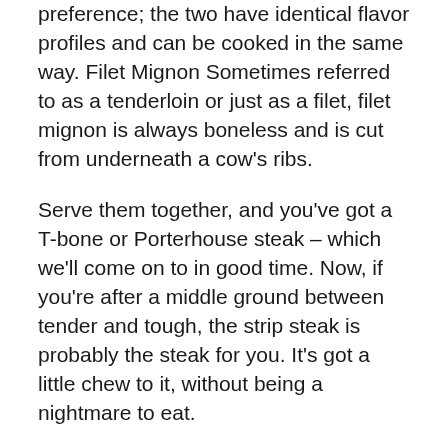preference; the two have identical flavor profiles and can be cooked in the same way. Filet Mignon Sometimes referred to as a tenderloin or just as a filet, filet mignon is always boneless and is cut from underneath a cow's ribs.
Serve them together, and you've got a T-bone or Porterhouse steak – which we'll come on to in good time. Now, if you're after a middle ground between tender and tough, the strip steak is probably the steak for you. It's got a little chew to it, without being a nightmare to eat.
How Which Steak Should I Choose? – Pre Brands can